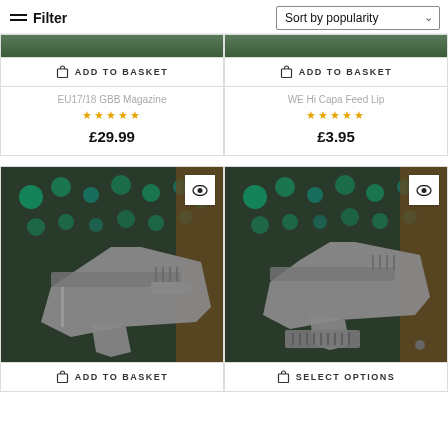Filter   Sort by popularity
ADD TO BASKET
ADD TO BASKET
EU17/18 GBB Magazine
★★★★★
£29.99
WE Hi Capa Feed Lip
★★★★★
£3.95
[Figure (photo): Airsoft pistol (grey/silver) on shooting range floor with green lights in background]
ADD TO BASKET
[Figure (photo): Airsoft pistol (grey/silver) with magazine beside it, green lights in background]
SELECT OPTIONS